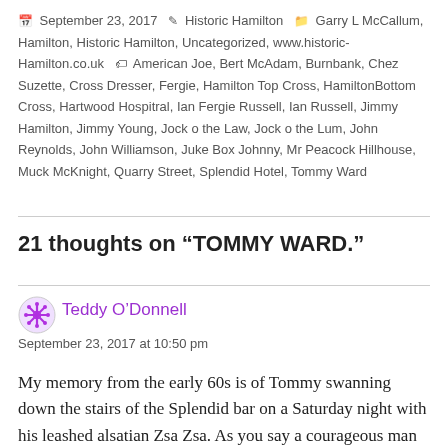September 23, 2017  Historic Hamilton  Garry L McCallum, Hamilton, Historic Hamilton, Uncategorized, www.historic-Hamilton.co.uk  American Joe, Bert McAdam, Burnbank, Chez Suzette, Cross Dresser, Fergie, Hamilton Top Cross, HamiltonBottom Cross, Hartwood Hospitral, Ian Fergie Russell, Ian Russell, Jimmy Hamilton, Jimmy Young, Jock o the Law, Jock o the Lum, John Reynolds, John Williamson, Juke Box Johnny, Mr Peacock Hillhouse, Muck McKnight, Quarry Street, Splendid Hotel, Tommy Ward
21 thoughts on “TOMMY WARD.”
Teddy O’Donnell
September 23, 2017 at 10:50 pm
My memory from the early 60s is of Tommy swanning down the stairs of the Splendid bar on a Saturday night with his leashed alsatian Zsa Zsa. As you say a courageous man ahead of his time and